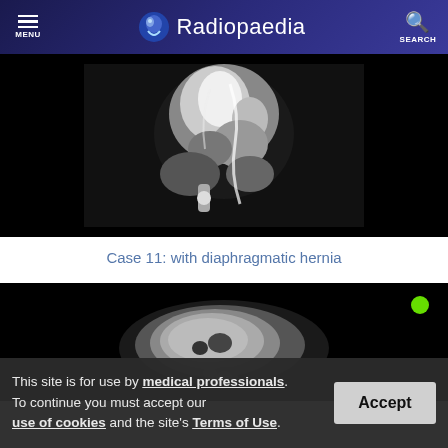Radiopaedia — MENU / SEARCH header
[Figure (photo): CT scan image showing cardiac/thoracic anatomy related to diaphragmatic hernia case, sagittal view, black background]
Case 11: with diaphragmatic hernia
[Figure (photo): CT scan axial view showing liver/abdominal cross-section, black background with green status dot indicator]
This site is for use by medical professionals. To continue you must accept our use of cookies and the site's Terms of Use.